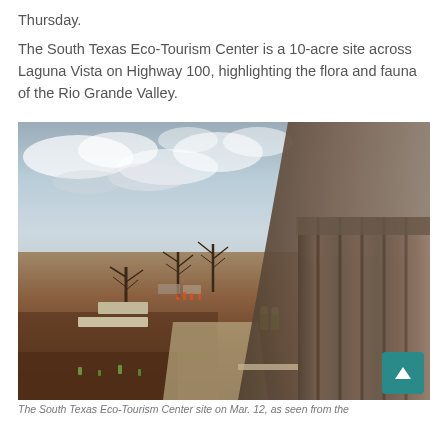Thursday.
The South Texas Eco-Tourism Center is a 10-acre site across Laguna Vista on Highway 100, highlighting the flora and fauna of the Rio Grande Valley.
[Figure (photo): Construction site of the South Texas Eco-Tourism Center showing landscaped grounds under cloudy sky, with a covered colonnade structure on the right and workers in high-visibility vests standing on a walkway.]
The South Texas Eco-Tourism Center site on Mar. 12, as seen from the